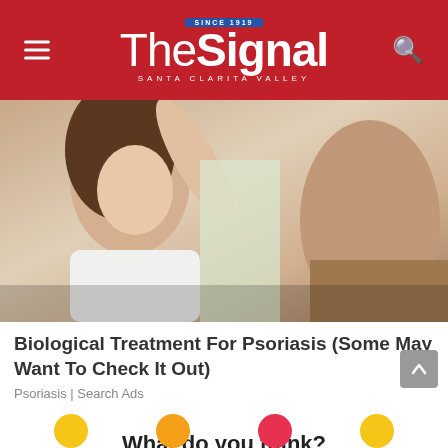The Signal — Santa Clarita Valley
[Figure (photo): Close-up photo of a young woman with long brown hair raising her arm, with another person visible in the background]
Biological Treatment For Psoriasis (Some May Want To Check It Out)
Psoriasis | Search Ads
What do you think?
3 Responses